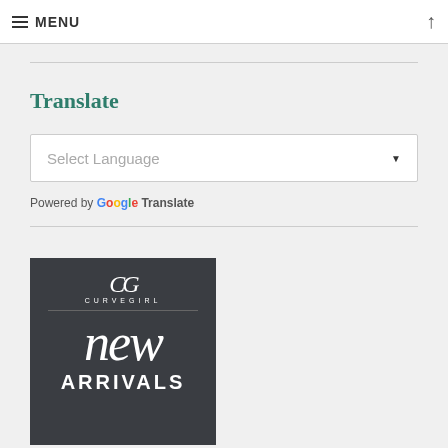≡ MENU
Translate
Select Language
Powered by Google Translate
[Figure (logo): CurveGirl new ARRIVALS promotional banner on dark gray background]